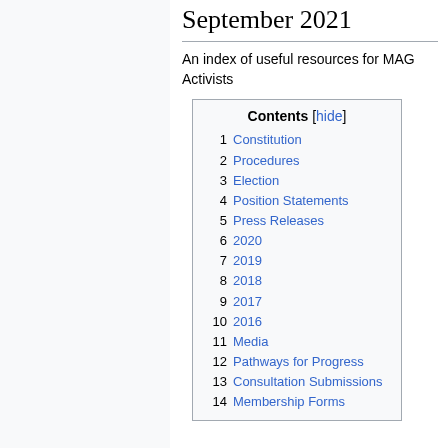September 2021
An index of useful resources for MAG Activists
1 Constitution
2 Procedures
3 Election
4 Position Statements
5 Press Releases
6 2020
7 2019
8 2018
9 2017
10 2016
11 Media
12 Pathways for Progress
13 Consultation Submissions
14 Membership Forms